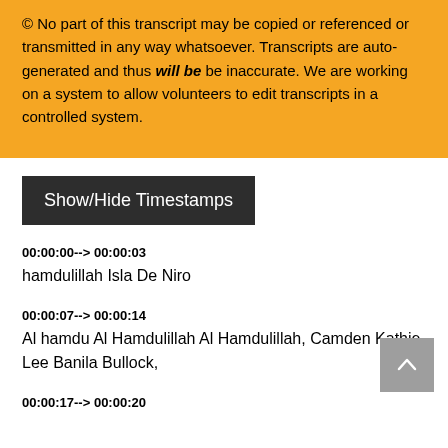© No part of this transcript may be copied or referenced or transmitted in any way whatsoever. Transcripts are auto-generated and thus will be be inaccurate. We are working on a system to allow volunteers to edit transcripts in a controlled system.
Show/Hide Timestamps
00:00:00--> 00:00:03
hamdulillah Isla De Niro
00:00:07--> 00:00:14
Al hamdu Al Hamdulillah Al Hamdulillah, Camden Kathie Lee Banila Bullock,
00:00:17--> 00:00:20